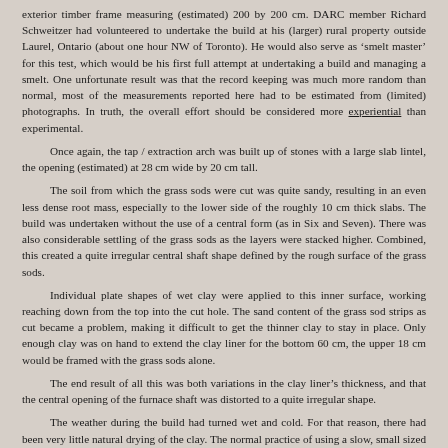exterior timber frame measuring (estimated) 200 by 200 cm. DARC member Richard Schweitzer had volunteered to undertake the build at his (larger) rural property outside Laurel, Ontario (about one hour NW of Toronto). He would also serve as 'smelt master' for this test, which would be his first full attempt at undertaking a build and managing a smelt. One unfortunate result was that the record keeping was much more random than normal, most of the measurements reported here had to be estimated from (limited) photographs. In truth, the overall effort should be considered more experiential than experimental.
Once again, the tap / extraction arch was built up of stones with a large slab lintel, the opening (estimated) at 28 cm wide by 20 cm tall.
The soil from which the grass sods were cut was quite sandy, resulting in an even less dense root mass, especially to the lower side of the roughly 10 cm thick slabs. The build was undertaken without the use of a central form (as in Six and Seven). There was also considerable settling of the grass sods as the layers were stacked higher. Combined, this created a quite irregular central shaft shape defined by the rough surface of the grass sods.
Individual plate shapes of wet clay were applied to this inner surface, working reaching down from the top into the cut hole. The sand content of the grass sod strips as cut became a problem, making it difficult to get the thinner clay to stay in place. Only enough clay was on hand to extend the clay liner for the bottom 60 cm, the upper 18 cm would be framed with the grass sods alone.
The end result of all this was both variations in the clay liner’s thickness, and that the central opening of the furnace shaft was distorted to a quite irregular shape.
The weather during the build had turned wet and cold. For that reason, there had been very little natural drying of the clay. The normal practice of using a slow, small sized drying fire before smelt day was not undertaken. This process was started on the morning of the smelt, and pushed due to time limitations. As a result, there was excessive damage due to steam spalling, flaking off large pieces of the clay liner. Falling to the bottom of